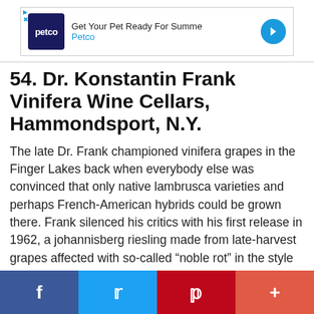[Figure (screenshot): Petco advertisement banner: 'Get Your Pet Ready For Summe' with Petco logo and blue arrow icon]
54. Dr. Konstantin Frank Vinifera Wine Cellars, Hammondsport, N.Y.
The late Dr. Frank championed vinifera grapes in the Finger Lakes back when everybody else was convinced that only native lambrusca varieties and perhaps French-American hybrids could be grown there. Frank silenced his critics with his first release in 1962, a johannisberg riesling made from late-harvest grapes affected with so-called “noble rot” in the style of the great German Trockenbeerenausleses. He planted some 60 vinifera varieties in all and to the European wine...
[Figure (infographic): Social sharing bar at bottom with Facebook (blue), Twitter (light blue), Pinterest (red), and More (+) buttons]